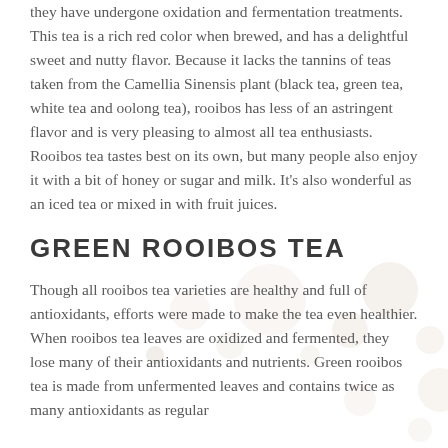they have undergone oxidation and fermentation treatments. This tea is a rich red color when brewed, and has a delightful sweet and nutty flavor. Because it lacks the tannins of teas taken from the Camellia Sinensis plant (black tea, green tea, white tea and oolong tea), rooibos has less of an astringent flavor and is very pleasing to almost all tea enthusiasts. Rooibos tea tastes best on its own, but many people also enjoy it with a bit of honey or sugar and milk. It's also wonderful as an iced tea or mixed in with fruit juices.
GREEN ROOIBOS TEA
Though all rooibos tea varieties are healthy and full of antioxidants, efforts were made to make the tea even healthier. When rooibos tea leaves are oxidized and fermented, they lose many of their antioxidants and nutrients. Green rooibos tea is made from unfermented leaves and contains twice as many antioxidants as regular